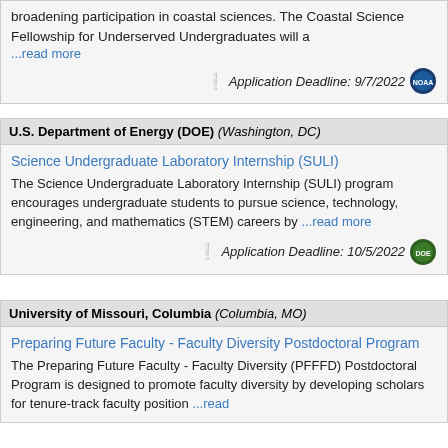broadening participation in coastal sciences. The Coastal Science Fellowship for Underserved Undergraduates will a
...read more
Application Deadline: 9/7/2022
U.S. Department of Energy (DOE) (Washington, DC)
Science Undergraduate Laboratory Internship (SULI)
The Science Undergraduate Laboratory Internship (SULI) program encourages undergraduate students to pursue science, technology, engineering, and mathematics (STEM) careers by ...read more
Application Deadline: 10/5/2022
University of Missouri, Columbia (Columbia, MO)
Preparing Future Faculty - Faculty Diversity Postdoctoral Program
The Preparing Future Faculty - Faculty Diversity (PFFFD) Postdoctoral Program is designed to promote faculty diversity by developing scholars for tenure-track faculty position ...read